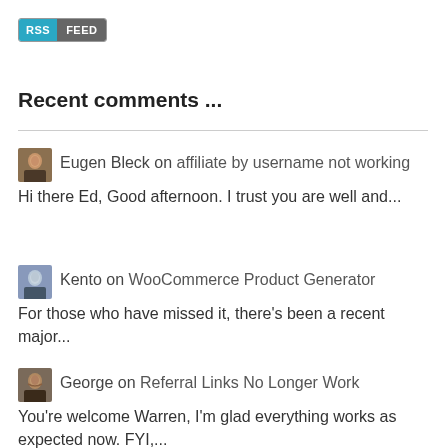[Figure (other): RSS FEED button with blue RSS label and grey FEED label]
Recent comments ...
Eugen Bleck on affiliate by username not working
Hi there Ed, Good afternoon. I trust you are well and...
Kento on WooCommerce Product Generator
For those who have missed it, there's been a recent major...
George on Referral Links No Longer Work
You're welcome Warren, I'm glad everything works as expected now. FYI,...